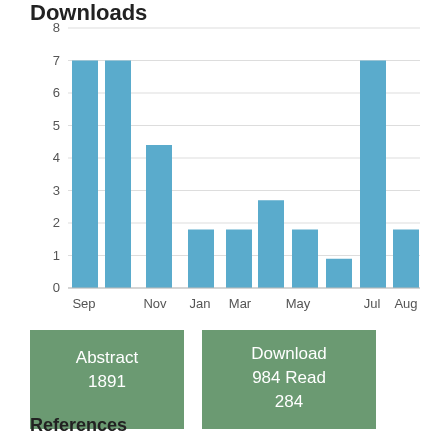Downloads
[Figure (bar-chart): Downloads]
Abstract 1891
Download 984 Read 284
References